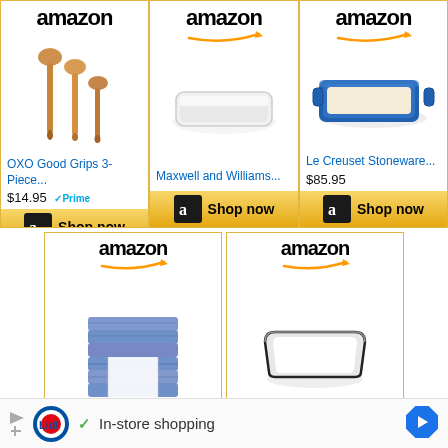[Figure (screenshot): Amazon product ad card: OXO Good Grips 3-Piece wooden spoons, $14.95, Prime. Shop now button.]
[Figure (screenshot): Amazon product ad card: Maxwell and Williams white baking dish. Shop now button.]
[Figure (screenshot): Amazon product ad card: Le Creuset Stoneware blue baking dish, $85.95. Shop now button.]
[Figure (screenshot): Amazon product ad card: blue kitchen towels. Shop now button (partially visible).]
[Figure (screenshot): Amazon product ad card: white enamel baking tray. Shop now button (partially visible).]
In-store shopping
[Figure (logo): Lidl logo and navigation arrow in footer ad bar]